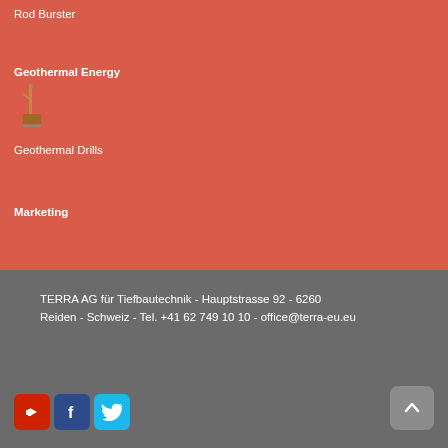Rod Burster
Geothermal Energy
[Figure (illustration): Small icon of a geothermal drill rig]
Geothermal Drills
Marketing
TERRA AG für Tiefbautechnik - Hauptstrasse 92 - 6260 Reiden - Schweiz - Tel. +41 62 749 10 10 - office@terra-eu.eu